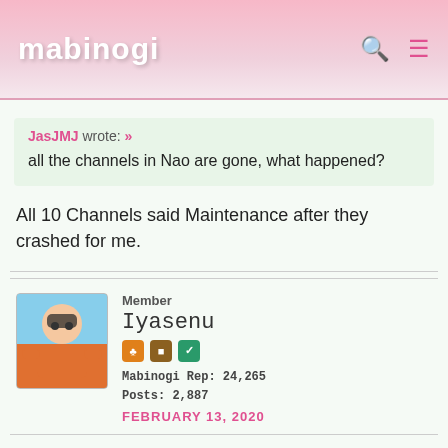mabinogi
JasJMJ wrote: »
all the channels in Nao are gone, what happened?
All 10 Channels said Maintenance after they crashed for me.
Member
Iyasenu
Mabinogi Rep: 24,265
Posts: 2,887
FEBRUARY 13, 2020
Channels crashing in order from 1~10 on Nao yet again.